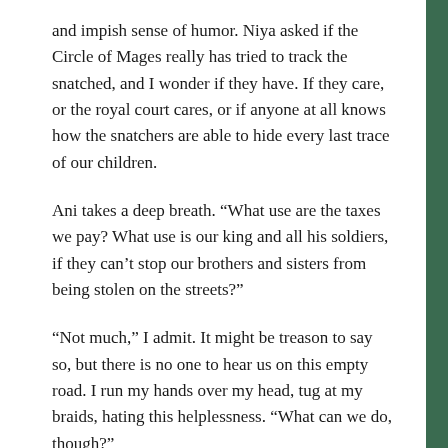and impish sense of humor. Niya asked if the Circle of Mages really has tried to track the snatched, and I wonder if they have. If they care, or the royal court cares, or if anyone at all knows how the snatchers are able to hide every last trace of our children.
Ani takes a deep breath. “What use are the taxes we pay? What use is our king and all his soldiers, if they can’t stop our brothers and sisters from being stolen on the streets?”
“Not much,” I admit. It might be treason to say so, but there is no one to hear us on this empty road. I run my hands over my head, tug at my braids, hating this helplessness. “What can we do, though?”
“I don’t know,” Ani says, and for the first time since she came to our cart asking after Seri, she begins to cry.
I fold her into my arms, holding her tight as she sobs into my